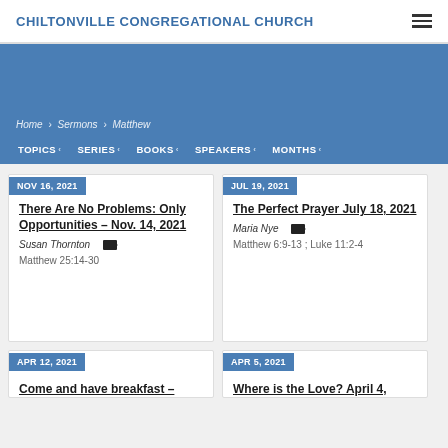CHILTONVILLE CONGREGATIONAL CHURCH
Home › Sermons › Matthew
TOPICS  SERIES  BOOKS  SPEAKERS  MONTHS
NOV 16, 2021
There Are No Problems: Only Opportunities – Nov. 14, 2021
Susan Thornton  [video]
Matthew 25:14-30
JUL 19, 2021
The Perfect Prayer July 18, 2021
Maria Nye  [video]
Matthew 6:9-13 ; Luke 11:2-4
APR 12, 2021
Come and have breakfast –
APR 5, 2021
Where is the Love? April 4,